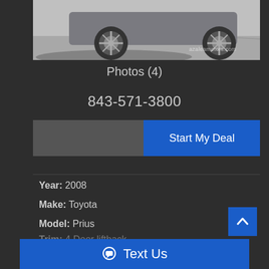[Figure (photo): Partial view of a car (wheel and lower body visible) parked on concrete surface, with watermark 'azaleamotors.com']
Photos (4)
843-571-3800
Start My Deal
Year: 2008
Make: Toyota
Model: Prius
Trim: 4 Door liftback
Text Us